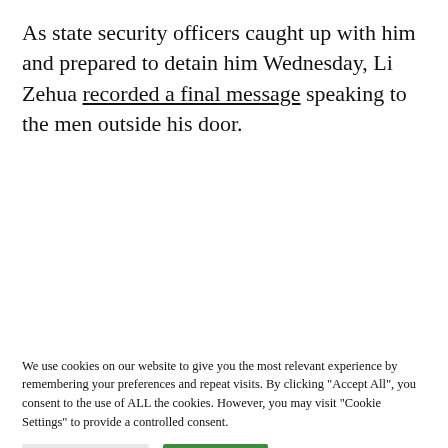As state security officers caught up with him and prepared to detain him Wednesday, Li Zehua recorded a final message speaking to the men outside his door.
[Figure (screenshot): YouTube channel header for 'Kcriss Li李澤華' showing search and menu icons, with a banner image displaying Chinese text '不服从' and English subtitle 'NEVER GIVE UP' on a dark background.]
We use cookies on our website to give you the most relevant experience by remembering your preferences and repeat visits. By clicking "Accept All", you consent to the use of ALL the cookies. However, you may visit "Cookie Settings" to provide a controlled consent.